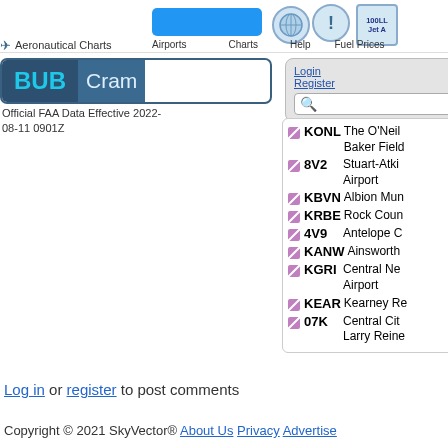Aeronautical Charts  Airports  Charts  Help  Fuel Prices
BUB  Cram
Login Register
Official FAA Data Effective 2022-08-11 0901Z
KONL - The O'Neill Baker Field
8V2 - Stuart-Atki Airport
KBVN - Albion Mun
KRBE - Rock Coun
4V9 - Antelope C
KANW - Ainsworth
KGRI - Central Ne Airport
KEAR - Kearney Re
07K - Central Cit Larry Reine
Log in or register to post comments
Copyright © 2021 SkyVector® About Us Privacy Advertise